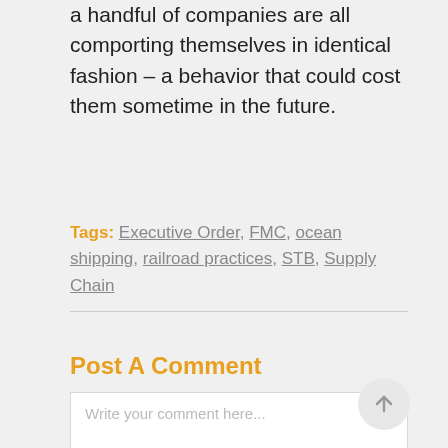a handful of companies are all comporting themselves in identical fashion – a behavior that could cost them sometime in the future.
Tags: Executive Order, FMC, ocean shipping, railroad practices, STB, Supply Chain
Post A Comment
Write your comment here...